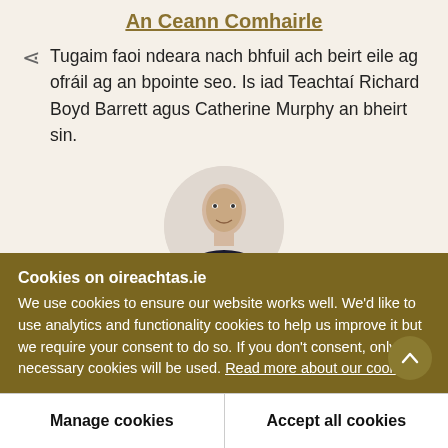An Ceann Comhairle
Tugaim faoi ndeara nach bhfuil ach beirt eile ag ofráil ag an bpointe seo. Is iad Teachtaí Richard Boyd Barrett agus Catherine Murphy an bheirt sin.
[Figure (photo): Circular portrait photo of a man with a shaved head wearing a dark top, against a light beige circular background.]
Cookies on oireachtas.ie
We use cookies to ensure our website works well. We'd like to use analytics and functionality cookies to help us improve it but we require your consent to do so. If you don't consent, only necessary cookies will be used. Read more about our cookies
Manage cookies
Accept all cookies